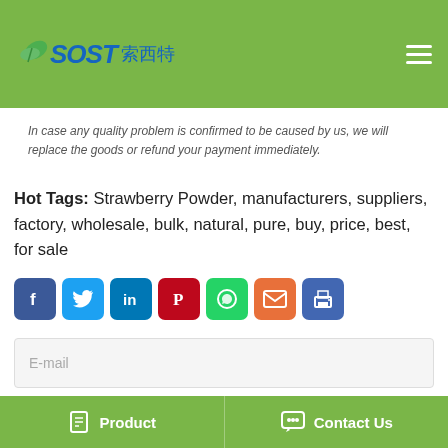SOST 索西特
In case any quality problem is confirmed to be caused by us, we will replace the goods or refund your payment immediately.
Hot Tags: Strawberry Powder, manufacturers, suppliers, factory, wholesale, bulk, natural, pure, buy, price, best, for sale
[Figure (infographic): Social share icons row: Facebook (blue), Twitter (light blue), LinkedIn (dark blue), Pinterest (red), WhatsApp (green), Email (orange-red), Print (blue)]
E-mail
Tel
Please enter the content!
Product   Contact Us